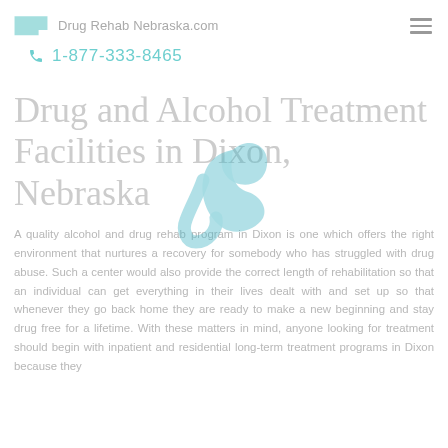Drug Rehab Nebraska.com
1-877-333-8465
Drug and Alcohol Treatment Facilities in Dixon, Nebraska
A quality alcohol and drug rehab program in Dixon is one which offers the right environment that nurtures a recovery for somebody who has struggled with drug abuse. Such a center would also provide the correct length of rehabilitation so that an individual can get everything in their lives dealt with and set up so that whenever they go back home they are ready to make a new beginning and stay drug free for a lifetime. With these matters in mind, anyone looking for treatment should begin with inpatient and residential long-term treatment programs in Dixon because they